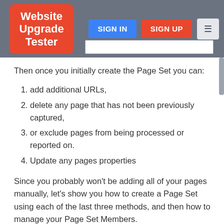Website Upgrade Tester | SIGN IN | SIGN UP
Then once you initially create the Page Set you can:
add additional URLs,
delete any page that has not been previously captured,
or exclude pages from being processed or reported on.
Update any pages properties
Since you probably won't be adding all of your pages manually, let's show you how to create a Page Set using each of the last three methods, and then how to manage your Page Set Members.
To create a new Page Set, simply click on the Page Set icon